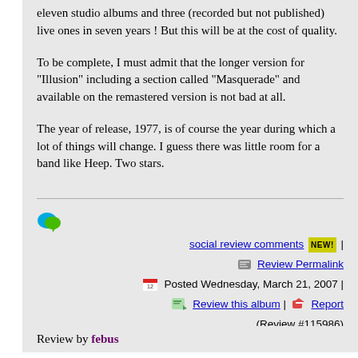eleven studio albums and three (recorded but not published) live ones in seven years ! But this will be at the cost of quality.
To be complete, I must admit that the longer version for "Illusion" including a section called "Masquerade" and available on the remastered version is not bad at all.
The year of release, 1977, is of course the year during which a lot of things will change. I guess there was little room for a band like Heep. Two stars.
social review comments NEW! | Review Permalink
Posted Wednesday, March 21, 2007 | Review this album | Report
(Review #115986)
Review by febus